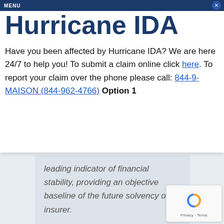MENU
Hurricane IDA
1985, Demotech has served
Have you been affected by Hurricane IDA? We are here 24/7 to help you! To submit a claim online click here. To report your claim over the phone please call: 844-9-MAISON (844-962-4766) Option 1
leading indicator of financial stability, providing an objective baseline of the future solvency of an insurer.
[Figure (screenshot): reCAPTCHA widget showing the reload icon and Privacy - Terms text]